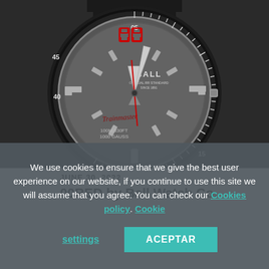[Figure (photo): Close-up photograph of a Ball Watch Co. timepiece with dark gray dial, luminous hour markers, red digital-display style numerals at 12 o'clock, red second hand, and 'BALL' branding visible on the dial. The watch shows '100M-330FT 1000 GAUSS' text and a rotating bezel with minute markings.]
JUNE 30, 2022
00RED by Ball Watch Co.
We use cookies to ensure that we give the best user experience on our website, if you continue to use this site we will assume that you agree. You can check our Cookies policy Cookie settings
ACEPTAR